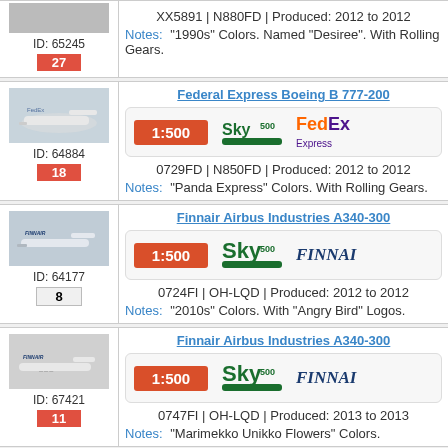| Image/ID | Model Info |
| --- | --- |
| ID: 65245 | 27 | XX5891 | N880FD | Produced: 2012 to 2012 | Notes: "1990s" Colors. Named "Desiree". With Rolling Gears. |
| ID: 64884 | 18 | Federal Express Boeing B 777-200 | 1:500 | 0729FD | N850FD | Produced: 2012 to 2012 | Notes: "Panda Express" Colors. With Rolling Gears. |
| ID: 64177 | 8 | Finnair Airbus Industries A340-300 | 1:500 | 0724FI | OH-LQD | Produced: 2012 to 2012 | Notes: "2010s" Colors. With "Angry Bird" Logos. |
| ID: 67421 | 11 | Finnair Airbus Industries A340-300 | 1:500 | 0747FI | OH-LQD | Produced: 2013 to 2013 | Notes: "Marimekko Unikko Flowers" Colors. |
| ID: ? | Finnair Airbus Industries A330-300 | 1:500 |